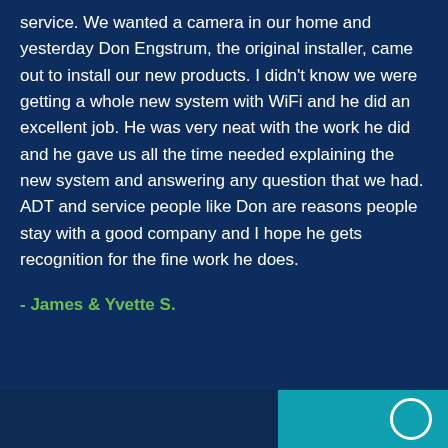service. We wanted a camera in our home and yesterday Don Engstrum, the original installer, came out to install our new products. I didn't know we were getting a whole new system with WiFi and he did an excellent job. He was very neat with the work he did and he gave us all the time needed explaining the new system and answering any question that we had. ADT and service people like Don are reasons people stay with a good company and I hope he gets recognition for the fine work he does.
- James & Yvette S.